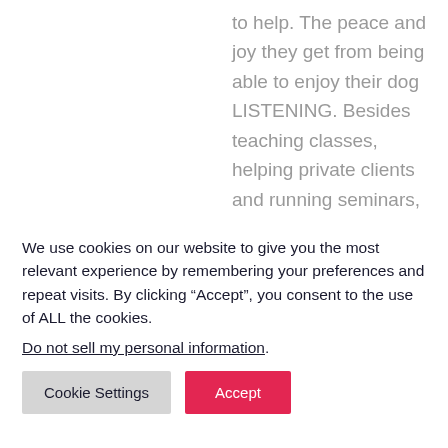to help. The peace and joy they get from being able to enjoy their dog LISTENING. Besides teaching classes, helping private clients and running seminars, Michele is also a foodie and
We use cookies on our website to give you the most relevant experience by remembering your preferences and repeat visits. By clicking “Accept”, you consent to the use of ALL the cookies.
Do not sell my personal information.